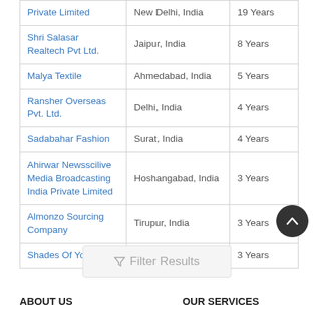| Company | Location | Experience |
| --- | --- | --- |
| Private Limited | New Delhi, India | 19 Years |
| Shri Salasar Realtech Pvt Ltd. | Jaipur, India | 8 Years |
| Malya Textile | Ahmedabad, India | 5 Years |
| Ransher Overseas Pvt. Ltd. | Delhi, India | 4 Years |
| Sadabahar Fashion | Surat, India | 4 Years |
| Ahirwar Newsscilive Media Broadcasting India Private Limited | Hoshangabad, India | 3 Years |
| Almonzo Sourcing Company | Tirupur, India | 3 Years |
| Shades Of You | Ghaziabad, India | 3 Years |
Filter Results
ABOUT US
OUR SERVICES